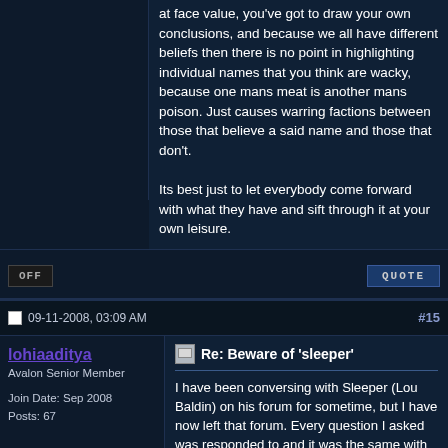at face value, you've got to draw your own conclusions, and because we all have different beliefs then there is no point in highlighting individual names that you think are wacky, because one mans meat is another mans poison. Just causes warring factions between those that believe a said name and those that don't.

Its best just to let everybody come forward with what they have and sift through it at your own leisure.
OFF
QUOTE
09-11-2008, 03:09 AM
#15
lohiaaditya
Avalon Senior Member
Join Date: Sep 2008
Posts: 67
Re: Beware of 'sleeper'
I have been conversing with Sleeper (Lou Baldin) on his forum for sometime, but I have now left that forum. Every question I asked was responded to and it was the same with everyone else. I went to his forum thinking that there is a grain of truth in it. I have lost a lot of faith in him because of his stance on the current Geo-political events and his stance on certain political figures. But nevertheless, I chose to quietly leave the forum and not criticize him for all of this or even take him on. I dont have the right to do so because I